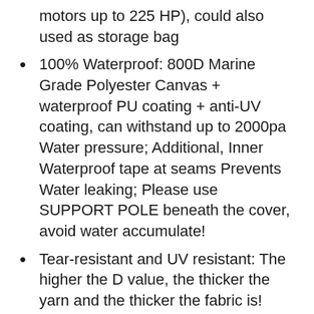motors up to 225 HP), could also used as storage bag
100% Waterproof: 800D Marine Grade Polyester Canvas + waterproof PU coating + anti-UV coating, can withstand up to 2000pa Water pressure; Additional, Inner Waterproof tape at seams Prevents Water leaking; Please use SUPPORT POLE beneath the cover, avoid water accumulate!
Tear-resistant and UV resistant: The higher the D value, the thicker the yarn and the thicker the fabric is! 800D is way heavier canvas than 600D /420D /300D; Double stitching, bow is double reinforced, and won’t tear easily at the sharp “elbows”; Anti-UV ability increased by 40%, avoid aging, disintegration and tearing due to exposure to the sun.